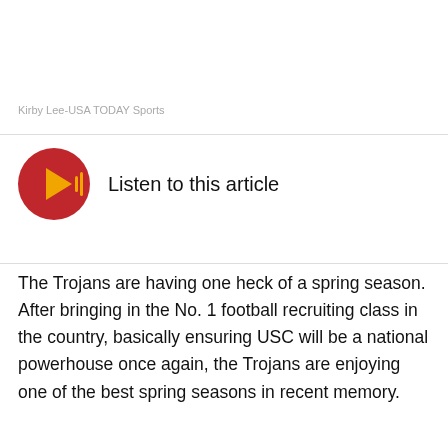Kirby Lee-USA TODAY Sports
[Figure (other): Red circular play button icon with audio waveform symbol in gold/orange, next to text 'Listen to this article']
The Trojans are having one heck of a spring season. After bringing in the No. 1 football recruiting class in the country, basically ensuring USC will be a national powerhouse once again, the Trojans are enjoying one of the best spring seasons in recent memory.